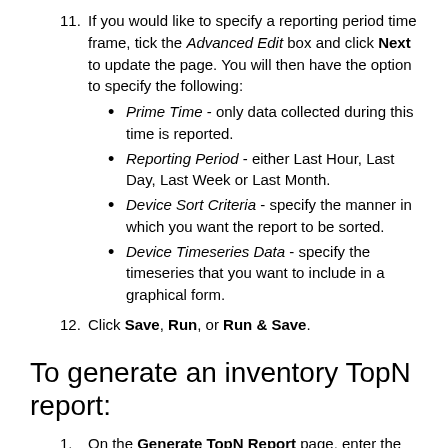If you would like to specify a reporting period time frame, tick the Advanced Edit box and click Next to update the page. You will then have the option to specify the following:
Prime Time - only data collected during this time is reported.
Reporting Period - either Last Hour, Last Day, Last Week or Last Month.
Device Sort Criteria - specify the manner in which you want the report to be sorted.
Device Timeseries Data - specify the timeseries that you want to include in a graphical form.
Click Save, Run, or Run & Save.
To generate an inventory TopN report:
On the Generate TopN Report page, enter the name